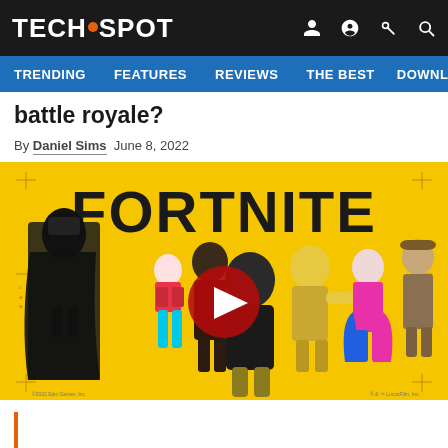TECHSPOT
TRENDING FEATURES REVIEWS THE BEST DOWNLOA
battle royale?
By Daniel Sims  June 8, 2022
[Figure (screenshot): Fortnite promotional image on yellow background showing multiple game characters including Darth Vader, with a YouTube play button overlay. Text reads FORTNITE in large letters.]